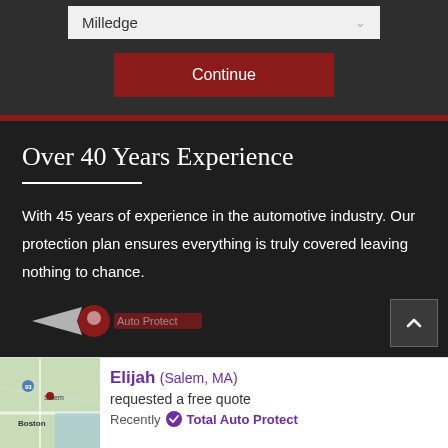Milledge
Continue
Over 40 Years Experience
With 45 years of experience in the automotive industry. Our protection plan ensures everything is truly covered leaving nothing to chance.
[Figure (logo): Total Auto Protect logo with car/wing icon]
Elijah (Salem, MA) requested a free quote Recently Total Auto Protect